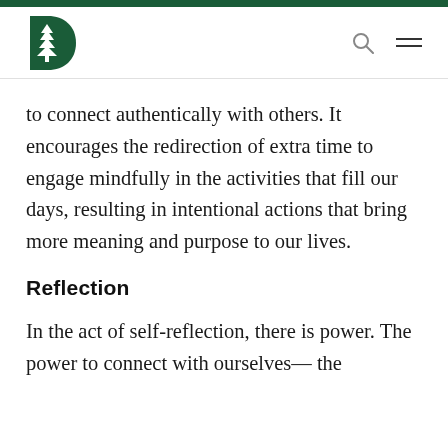Dartmouth College header with logo, search icon, and menu icon
to connect authentically with others. It encourages the redirection of extra time to engage mindfully in the activities that fill our days, resulting in intentional actions that bring more meaning and purpose to our lives.
Reflection
In the act of self-reflection, there is power. The power to connect with ourselves— the